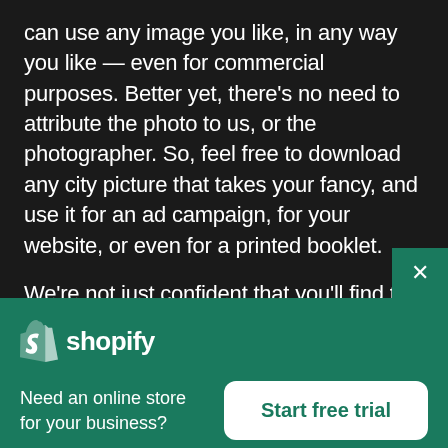can use any image you like, in any way you like — even for commercial purposes. Better yet, there's no need to attribute the photo to us, or the photographer. So, feel free to download any city picture that takes your fancy, and use it for an ad campaign, for your website, or even for a printed booklet.
We're not just confident that you'll find the right city photo for your project, we're also pretty sure that you'll find some images that you didn't think you needed — until you saw them. These images will be regularly updated, too, so you'll never be stuck for
[Figure (logo): Shopify logo — white shopping bag icon with letter S, followed by the word 'shopify' in white text on green background]
Need an online store for your business?
Start free trial